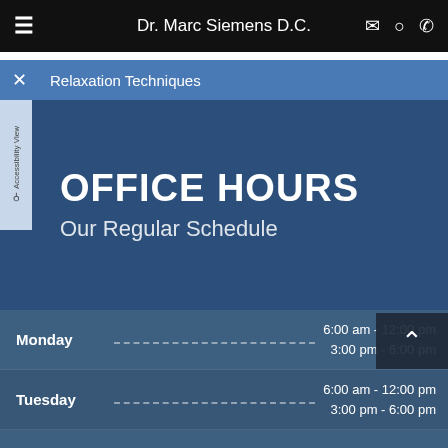Dr. Marc Siemens D.C.
Relaxation Techniques
OFFICE HOURS
Our Regular Schedule
| Day | Hours |
| --- | --- |
| Monday | 6:00 am - 12:00 pm
3:00 pm - 6:00 pm |
| Tuesday | 6:00 am - 12:00 pm
3:00 pm - 6:00 pm |
| Wednesday | 6:00 am - 12:00 pm |